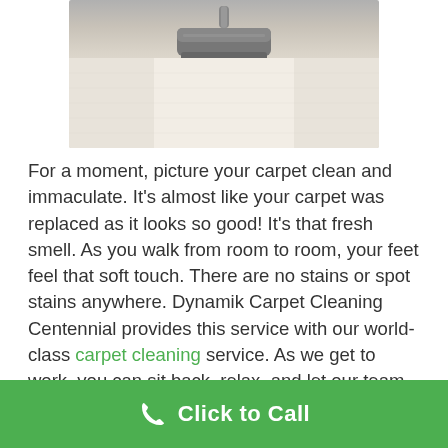[Figure (photo): A carpet cleaning vacuum head/wand being used on a light beige carpet, showing a clean path through the carpet fibers.]
For a moment, picture your carpet clean and immaculate. It's almost like your carpet was replaced as it looks so good! It's that fresh smell. As you walk from room to room, your feet feel that soft touch. There are no stains or spot stains anywhere. Dynamik Carpet Cleaning Centennial provides this service with our world-class carpet cleaning service. As we get to work, you can sit back, relax, and let our team do the heavy lifting.
Your home deserves a clean, fresh appearance. A happy
Click to Call